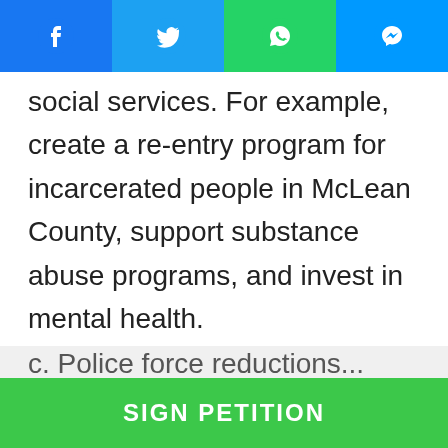Social share bar: Facebook, Twitter, WhatsApp, Messenger
social services. For example, create a re-entry program for incarcerated people in McLean County, support substance abuse programs, and invest in mental health.
b. The use of these funds should be transparent and include input from a diverse group of community members.
c. Police force reductions...
SIGN PETITION